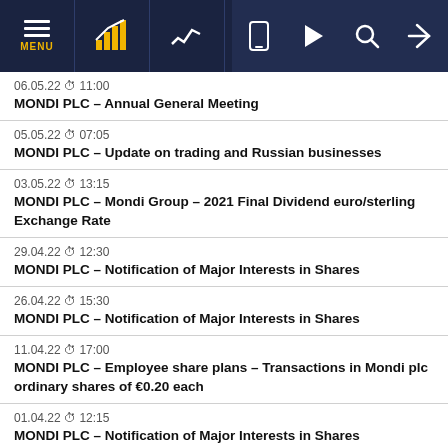MENU [navigation bar with icons]
06.05.22 11:00 — MONDI PLC – Annual General Meeting
05.05.22 07:05 — MONDI PLC – Update on trading and Russian businesses
03.05.22 13:15 — MONDI PLC – Mondi Group – 2021 Final Dividend euro/sterling Exchange Rate
29.04.22 12:30 — MONDI PLC – Notification of Major Interests in Shares
26.04.22 15:30 — MONDI PLC – Notification of Major Interests in Shares
11.04.22 17:00 — MONDI PLC – Employee share plans – Transactions in Mondi plc ordinary shares of €0.20 each
01.04.22 12:15 — MONDI PLC – Notification of Major Interests in Shares
30.03.22 15:15